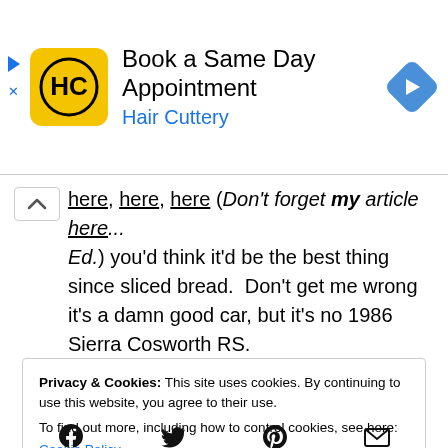[Figure (screenshot): Hair Cuttery ad banner with yellow logo, 'Book a Same Day Appointment', blue navigation arrow icon, and ad markers]
here, here, here (Don't forget my article here... Ed.) you'd think it'd be the best thing since sliced bread. Don't get me wrong it's a damn good car, but it's no 1986 Sierra Cosworth RS.
Privacy & Cookies: This site uses cookies. By continuing to use this website, you agree to their use.
To find out more, including how to control cookies, see here:
Cookie Policy
Close and accept
[Figure (screenshot): Social media icons row: Facebook, Twitter, Pinterest, Email]